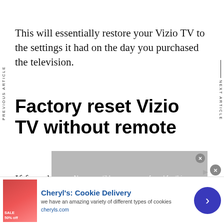This will essentially restore your Vizio TV to the settings it had on the day you purchased the television.
Factory reset Vizio TV without remote
If for whatever reason you do not have access to
[Figure (screenshot): Video player overlay showing 'No compatible source was found for this' message on grey background with close button]
[Figure (screenshot): Advertisement banner for Cheryl's Cookie Delivery with image of cookies, title, description 'we have an amazing variety of different types of cookies', URL cheryls.com, and a blue circular arrow button]